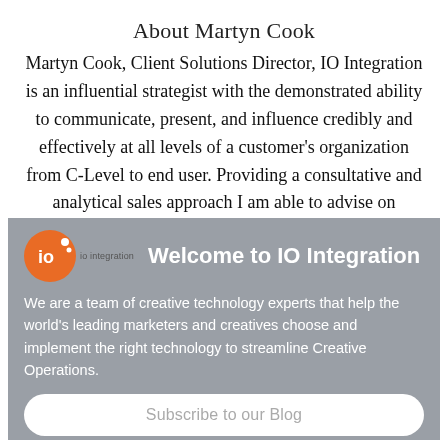About Martyn Cook
Martyn Cook, Client Solutions Director, IO Integration is an influential strategist with the demonstrated ability to communicate, present, and influence credibly and effectively at all levels of a customer's organization from C-Level to end user. Providing a consultative and analytical sales approach I am able to advise on
Welcome to IO Integration
We are a team of creative technology experts that help the world's leading marketers and creatives choose and implement the right technology to streamline Creative Operations.
Subscribe to our Blog